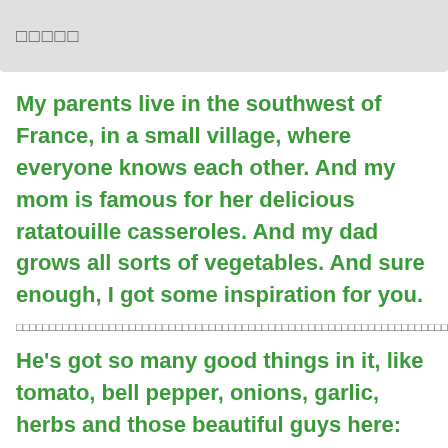□□□□□
My parents live in the southwest of France, in a small village, where everyone knows each other. And my mom is famous for her delicious ratatouille casseroles. And my dad grows all sorts of vegetables. And sure enough, I got some inspiration for you.
□□□□□□□□□□□□□□□□□□□□□□□□□□□□□□□□□□□□□□□□□□□□□□□□□□□□□□□□□□□□□□□□□□□□□□□□□□□□□□□□□□□□□□□□□□□□□□□□□□□□□□□□□□□□□□□□□□□□□□□□□□□□□□□□□□□□□□□□□□□□□□□□□□□□□□□□□□□□□□□□
He's got so many good things in it, like tomato, bell pepper, onions, garlic, herbs and those beautiful guys here: yellow squash, uh, Japanese eggplants. I'd like to use poblano and